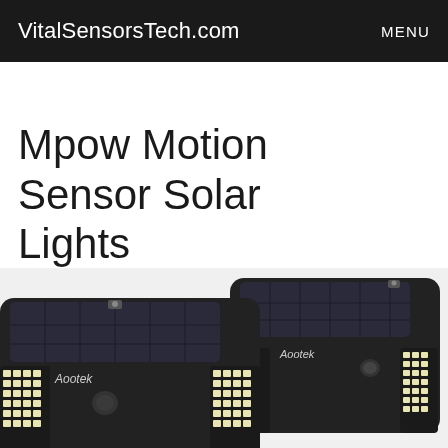VitalSensorsTech.com   MENU
Mpow Motion Sensor Solar Lights
[Figure (photo): Two Aootek brand solar motion sensor lights side by side, showing LED panels and solar panels on top, black housing with the Aootek logo visible on both units]